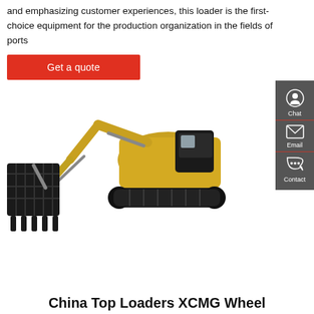and emphasizing customer experiences, this loader is the first-choice equipment for the production organization in the fields of ports
Get a quote
[Figure (photo): Yellow and black XCMG large excavator with a large bucket attachment, shown on white background]
[Figure (infographic): Sidebar with Chat, Email, and Contact icons on dark grey background]
China Top Loaders XCMG Wheel